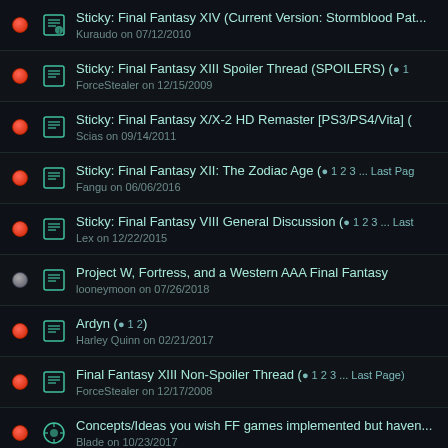Sticky: Final Fantasy XIV (Current Version: Stormblood Patch...
Kuraudo on 07/12/2010
Sticky: Final Fantasy XIII Spoiler Thread (SPOILERS) ( 1
ForceStealer on 12/15/2009
Sticky: Final Fantasy X/X-2 HD Remaster [PS3/PS4/Vita] (
Scias on 09/14/2011
Sticky: Final Fantasy XII: The Zodiac Age ( 1 2 3 ... Last Pag
Fangu on 06/06/2016
Sticky: Final Fantasy VIII General Discussion ( 1 2 3 ... Last
Lex on 12/22/2015
Project W, Fortress, and a Western AAA Final Fantasy
looneymoon on 07/26/2018
Ardyn ( 1 2)
Harley Quinn on 02/21/2017
Final Fantasy XIII Non-Spoiler Thread ( 1 2 3 ... Last Page)
ForceStealer on 12/17/2008
Concepts/Ideas you wish FF games implemented but haven...
Blade on 10/23/2017
Final Fantasy IX Battle UI Fix
Vivi_Carol on 06/15/2018
FF9 Is My Favourite Because I Relate With Both The Hero A...
T@ctic on 05/29/2018